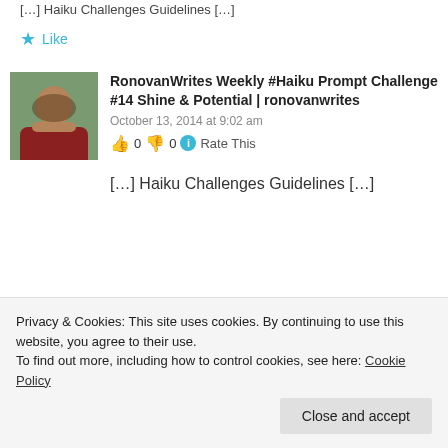[...] Haiku Challenges Guidelines [...]
★ Like
RonovanWrites Weekly #Haiku Prompt Challenge #14 Shine & Potential | ronovanwrites
October 13, 2014 at 9:02 am
👍 0 👎 0 ℹ Rate This
[...] Haiku Challenges Guidelines [...]
Privacy & Cookies: This site uses cookies. By continuing to use this website, you agree to their use.
To find out more, including how to control cookies, see here: Cookie Policy
Close and accept
Challenge #14 Promise & Potential | ronovanwrites
October 20, 2014 at 9:02 am